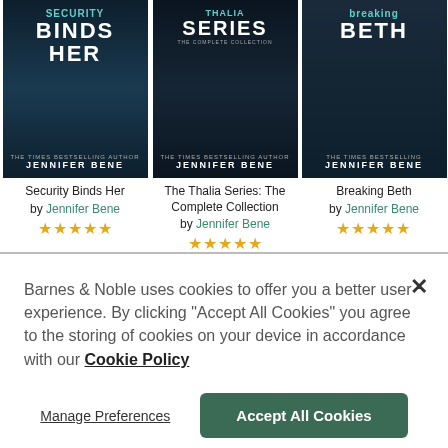[Figure (illustration): Book cover: Security Binds Her by Jennifer Bene. Dark blue/teal cover with text.]
Security Binds Her
by Jennifer Bene
★★★★★
[Figure (illustration): Book cover: The Thalia Series: The Complete Collection by Jennifer Bene. Dark cover.]
The Thalia Series: The Complete Collection
by Jennifer Bene
★★★★★
[Figure (illustration): Book cover: Breaking Beth by Jennifer Bene. Partially visible on right edge.]
Breaking Beth
by Jennifer Bene
★★★★★
Barnes & Noble uses cookies to offer you a better user experience. By clicking "Accept All Cookies" you agree to the storing of cookies on your device in accordance with our Cookie Policy